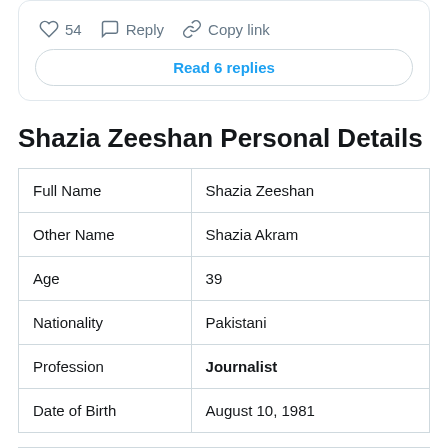[Figure (screenshot): Social media post action bar showing heart icon with 54 likes, Reply button, Copy link button, and a 'Read 6 replies' button styled as a rounded pill button in blue text.]
Shazia Zeeshan Personal Details
| Full Name | Shazia Zeeshan |
| Other Name | Shazia Akram |
| Age | 39 |
| Nationality | Pakistani |
| Profession | Journalist |
| Date of Birth | August 10, 1981 |
| Height | 5.8 Feets |